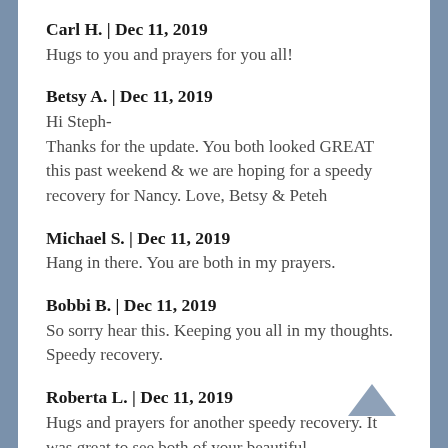Carl H. | Dec 11, 2019
Hugs to you and prayers for you all!
Betsy A. | Dec 11, 2019
Hi Steph-
Thanks for the update. You both looked GREAT this past weekend & we are hoping for a speedy recovery for Nancy. Love, Betsy & Peteh
Michael S. | Dec 11, 2019
Hang in there. You are both in my prayers.
Bobbi B. | Dec 11, 2019
So sorry hear this. Keeping you all in my thoughts. Speedy recovery.
Roberta L. | Dec 11, 2019
Hugs and prayers for another speedy recovery. It was great to see both of your beautiful smiles this weekend! Glad you are close to